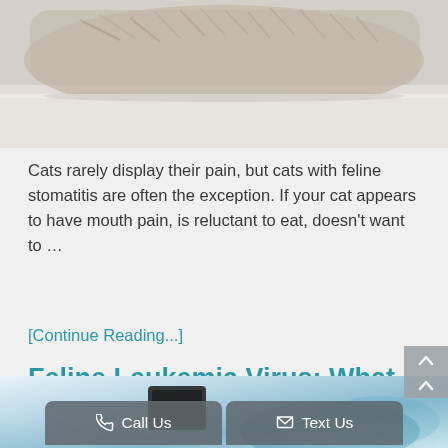[Figure (photo): A cat lying on a ledge or shelf, viewed from slightly below, showing cat fur and a white/grey surface. Top portion of a veterinary article page.]
Cats rarely display their pain, but cats with feline stomatitis are often the exception. If your cat appears to have mouth pain, is reluctant to eat, doesn't want to …
[Continue Reading...]
Feline Leukemia Virus: What You Need to Know
[Figure (photo): Partial photo at the bottom of the page, appears to show a person with something blue/white, likely a veterinary context.]
Call Us  Text Us